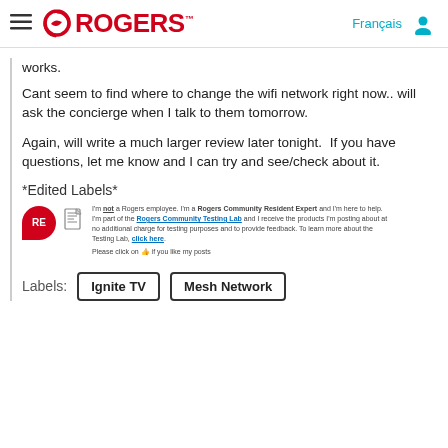Rogers — Français (navigation header)
works.
Cant seem to find where to change the wifi network right now.. will ask the concierge when I talk to them tomorrow.
Again, will write a much larger review later tonight.  If you have questions, let me know and I can try and see/check about it.
*Edited Labels*
[Figure (other): Rogers Community Resident Expert signature block with RE red speech bubble avatar, document icon, and disclaimer text about not being a Rogers employee, being part of Rogers Community Testing Lab, and a prompt to click thumbs up.]
Labels:  Ignite TV   Mesh Network